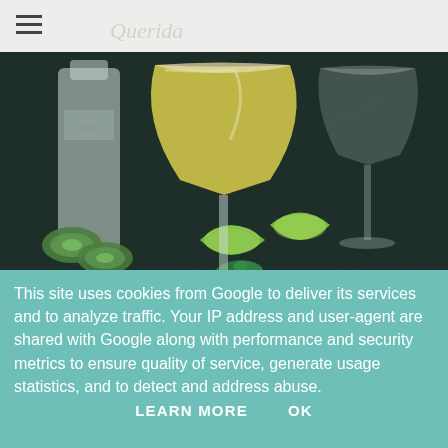[Figure (photo): Cocktail photo showing a yellow margarita-style drink in a coupe glass, with cucumber slices, lime halves, and a bottle of clear spirit on a dark marble surface. A second empty glass is visible in the background right.]
This site uses cookies from Google to deliver its services and to analyze traffic. Your IP address and user-agent are shared with Google along with performance and security metrics to ensure quality of service, generate usage statistics, and to detect and address abuse.
LEARN MORE    OK